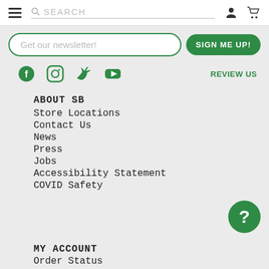SEARCH
Get our newsletter!
SIGN ME UP!
REVIEW US
ABOUT SB
Store Locations
Contact Us
News
Press
Jobs
Accessibility Statement
COVID Safety
MY ACCOUNT
Order Status